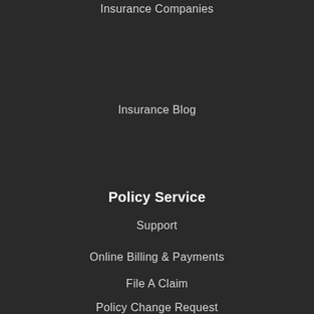Insurance Companies
Insurance Blog
Policy Service
Support
Online Billing & Payments
File A Claim
Policy Change Request